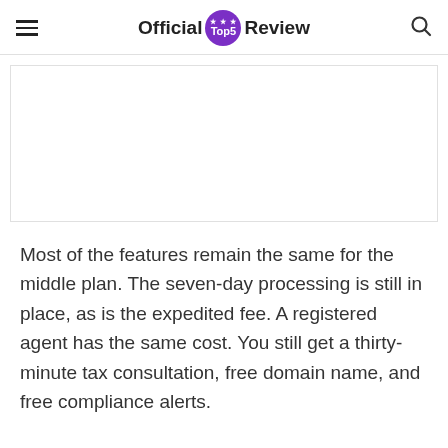Official Top5 Review
Most of the features remain the same for the middle plan. The seven-day processing is still in place, as is the expedited fee. A registered agent has the same cost. You still get a thirty-minute tax consultation, free domain name, and free compliance alerts.